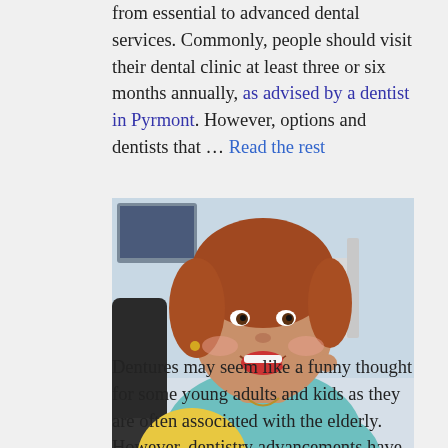from essential to advanced dental services. Commonly, people should visit their dental clinic at least three or six months annually, as advised by a dentist in Pyrmont. However, options and dentists that … Read the rest
[Figure (photo): Woman with red hair in a dental chair, smiling and pointing to her teeth, wearing a teal dental bib, with dental office equipment visible in the background.]
Dentures may seem like a funny thought for some young adults and kids as they are often associated with the elderly. However, dentistry advancements have made it possible to make